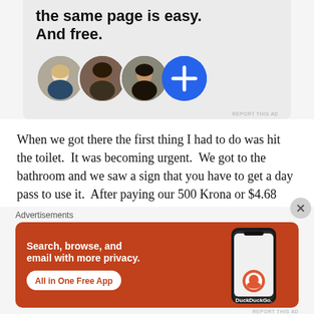[Figure (advertisement): Top ad banner with bold text 'the same page is easy. And free.' and four circular avatars (three person photos and one blue plus button)]
When we got there the first thing I had to do was hit the toilet.  It was becoming urgent.  We got to the bathroom and we saw a sign that you have to get a day pass to use it.  After paying our 500 Krona or $4.68 and getting our wrist
Advertisements
[Figure (advertisement): DuckDuckGo ad on orange/red background: 'Search, browse, and email with more privacy. All in One Free App' with phone image and DuckDuckGo logo]